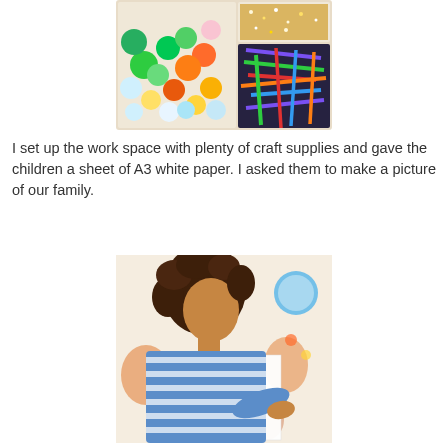[Figure (photo): A plastic container divided into compartments holding colorful craft supplies: pom-poms in green, orange, yellow, white, pink colors on the left; gold glitter/beaded material and colorful craft sticks on the right.]
I set up the work space with plenty of craft supplies and gave the children a sheet of A3 white paper. I asked them to make a picture of our family.
[Figure (photo): A young girl with curly brown hair wearing a striped shirt, sitting at a table covered with craft supplies including scissors, paper, and various materials, working on a project.]